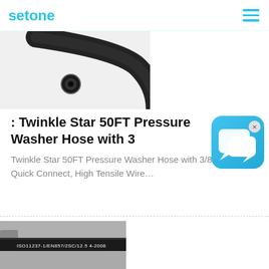setone
[Figure (photo): Close-up of a black rubber/wire braided hydraulic hose end, showing the circular cross-section with wire braid visible, on white background.]
: Twinkle Star 50FT Pressure Washer Hose with 3
[Figure (illustration): Blue rounded square chat/messaging app icon with two speech bubble icons in white, with an 'x' close button in the top right corner.]
Twinkle Star 50FT Pressure Washer Hose with 3/8 Inch Quick Connect, High Tensile Wire…
[Figure (photo): Close-up of a black hydraulic hose showing the marking: ISO11237-1/EN857/2SC/12.5 4-2008 on the hose surface, with a gray fitting/coupling visible.]